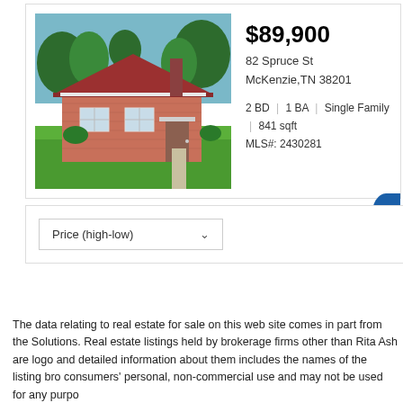[Figure (photo): Exterior photo of a brick ranch-style house with red roof, green lawn, and trees in background]
$89,900
82 Spruce St
McKenzie,TN 38201
2 BD | 1 BA | Single Family | 841 sqft
MLS#: 2430281
Price (high-low)
The data relating to real estate for sale on this web site comes in part from the Solutions. Real estate listings held by brokerage firms other than Rita Ash are logo and detailed information about them includes the names of the listing bro consumers' personal, non-commercial use and may not be used for any purpo